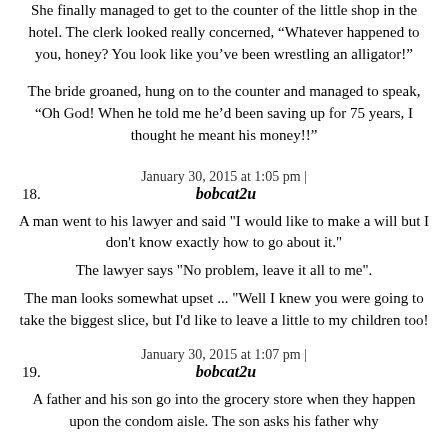She finally managed to get to the counter of the little shop in the hotel. The clerk looked really concerned, “Whatever happened to you, honey? You look like you’ve been wrestling an alligator!”
The bride groaned, hung on to the counter and managed to speak, “Oh God! When he told me he’d been saving up for 75 years, I thought he meant his money!!”
January 30, 2015 at 1:05 pm |
18. bobcat2u
A man went to his lawyer and said "I would like to make a will but I don't know exactly how to go about it."
The lawyer says "No problem, leave it all to me".
The man looks somewhat upset ... "Well I knew you were going to take the biggest slice, but I'd like to leave a little to my children too!
January 30, 2015 at 1:07 pm |
19. bobcat2u
A father and his son go into the grocery store when they happen upon the condom aisle. The son asks his father why